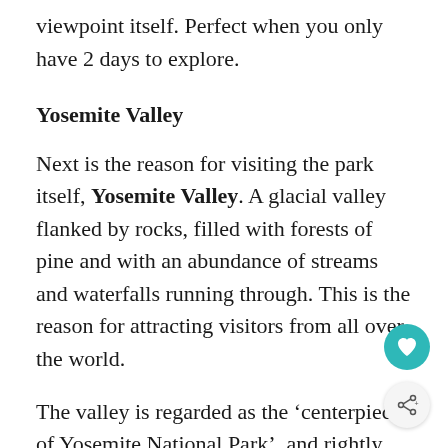viewpoint itself. Perfect when you only have 2 days to explore.
Yosemite Valley
Next is the reason for visiting the park itself, Yosemite Valley. A glacial valley flanked by rocks, filled with forests of pine and with an abundance of streams and waterfalls running through. This is the reason for attracting visitors from all over the world.
The valley is regarded as the ‘centerpiece of Yosemite National Park’, and rightly so!
Bridalveil Fall
Next up is a drive down to Bridalveil Fall. Named